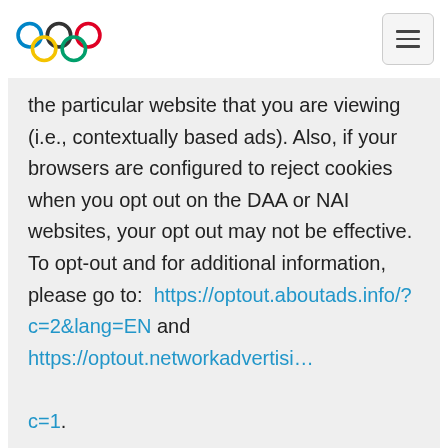Olympic rings logo and navigation menu button
the particular website that you are viewing (i.e., contextually based ads). Also, if your browsers are configured to reject cookies when you opt out on the DAA or NAI websites, your opt out may not be effective. To opt-out and for additional information, please go to:  https://optout.aboutads.info/?c=2&lang=EN and https://optout.networkadvertising.org/?c=1.